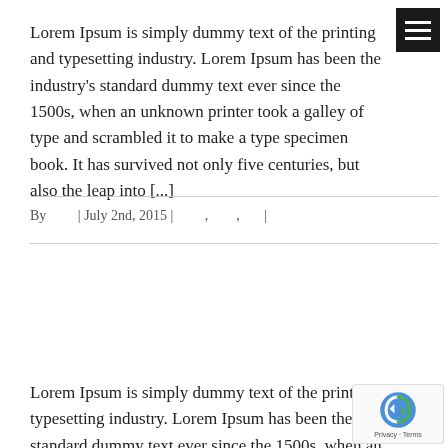Lorem Ipsum is simply dummy text of the printing and typesetting industry. Lorem Ipsum has been the industry's standard dummy text ever since the 1500s, when an unknown printer took a galley of type and scrambled it to make a type specimen book. It has survived not only five centuries, but also the leap into [...]
By | July 2nd, 2015 | , , |
Lorem Ipsum is simply dummy text of the printing and typesetting industry. Lorem Ipsum has been the industry's standard dummy text ever since the 1500s, when an unknown printer took a galley of type and scrambled it to